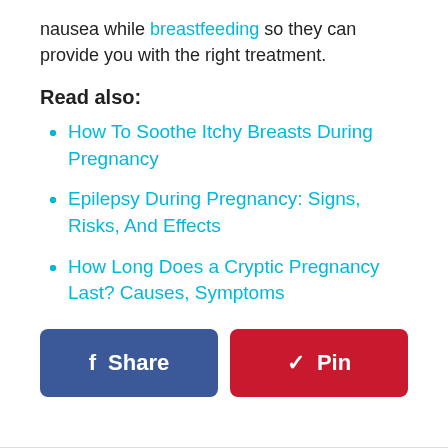nausea while breastfeeding so they can provide you with the right treatment.
Read also:
How To Soothe Itchy Breasts During Pregnancy
Epilepsy During Pregnancy: Signs, Risks, And Effects
How Long Does a Cryptic Pregnancy Last? Causes, Symptoms